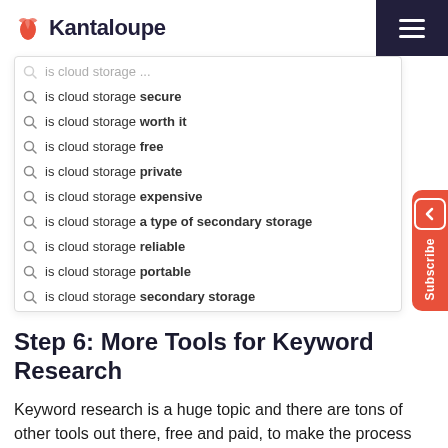Kantaloupe
[Figure (screenshot): Google search autocomplete dropdown showing suggestions for 'is cloud storage' with options: secure, worth it, free, private, expensive, a type of secondary storage, reliable, portable, secondary storage]
Step 6: More Tools for Keyword Research
Keyword research is a huge topic and there are tons of other tools out there, free and paid, to make the process more automated.
Here are a few to try out now that you know the basics...